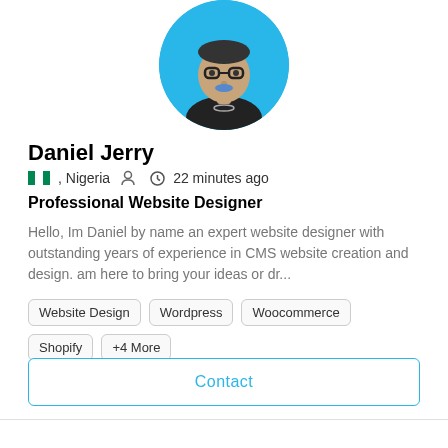[Figure (illustration): Circular avatar of an animated character with glasses and blue mustache on a light blue background]
Daniel Jerry
🇳🇬, Nigeria  👤  🕐 22 minutes ago
Professional Website Designer
Hello, Im Daniel by name an expert website designer with outstanding years of experience in CMS website creation and design. am here to bring your ideas or dr...
Website Design
Wordpress
Woocommerce
Shopify
+4 More
$ 25/hr
Contact